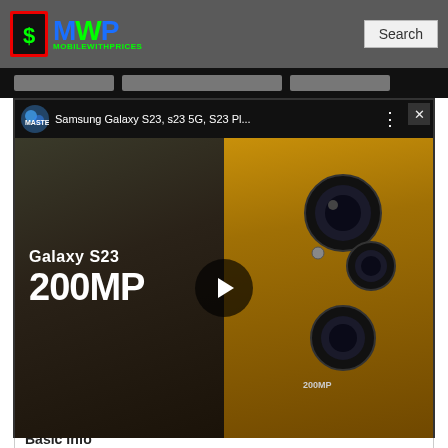MVP MobileWithPrices - Search
[Figure (screenshot): YouTube-style video player overlay showing Samsung Galaxy S23 200MP promotional video thumbnail with play button. Channel: Mastech. Title: Samsung Galaxy S23, s23 5G, S23 Pl... Galaxy S23 200MP text shown on left, gold phone with camera on right.]
Accelerometer Sensors.
Elephone A2Pro Full Phone Specs
| Basic Info |  |
| --- | --- |
| Type | Smartphone |
| Brand | Eleph... |